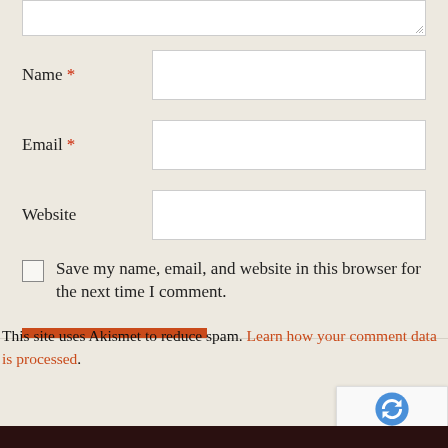[Figure (screenshot): Partial textarea input box at the top of the form, showing resize handle]
Name *
Email *
Website
Save my name, email, and website in this browser for the next time I comment.
Post Comment
This site uses Akismet to reduce spam. Learn how your comment data is processed.
[Figure (logo): reCAPTCHA badge with Privacy and Terms text]